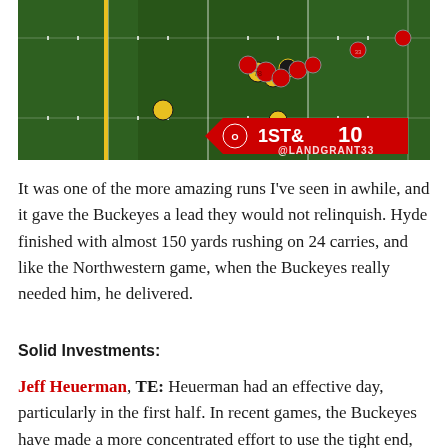[Figure (photo): Aerial/broadcast view of a college football play in progress. Ohio State (red) vs Iowa (gold/black). Field is green with white yard lines and a yellow first-down line. Scoreboard overlay shows 1ST & 10 with @LANDGRANT33 watermark.]
It was one of the more amazing runs I've seen in awhile, and it gave the Buckeyes a lead they would not relinquish. Hyde finished with almost 150 yards rushing on 24 carries, and like the Northwestern game, when the Buckeyes really needed him, he delivered.
Solid Investments:
Jeff Heuerman, TE: Heuerman had an effective day, particularly in the first half. In recent games, the Buckeyes have made a more concentrated effort to use the tight end, and Heuerman has been the primary